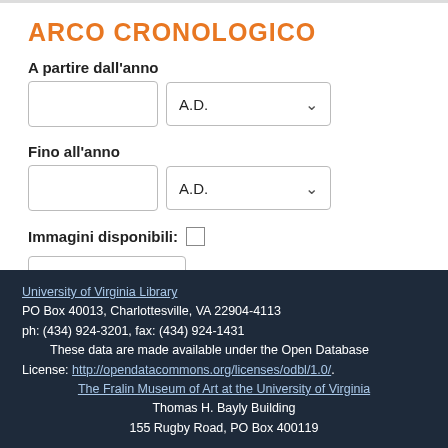ARCO CRONOLOGICO
A partire dall'anno
A.D.
Fino all'anno
A.D.
Immagini disponibili:
Raffina la ricerca
University of Virginia Library
PO Box 40013, Charlottesville, VA 22904-4113
ph: (434) 924-3201, fax: (434) 924-1431
These data are made available under the Open Database License: http://opendatacommons.org/licenses/odbl/1.0/.
The Fralin Museum of Art at the University of Virginia
Thomas H. Bayly Building
155 Rugby Road, PO Box 400119